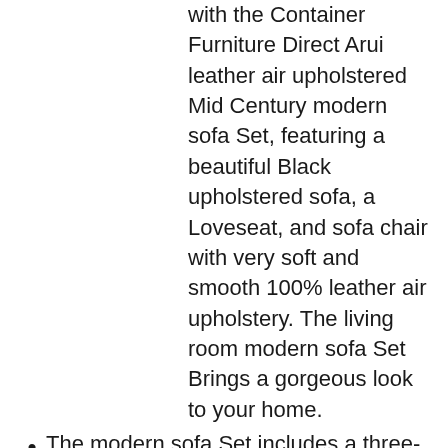with the Container Furniture Direct Arui leather air upholstered Mid Century modern sofa Set, featuring a beautiful Black upholstered sofa, a Loveseat, and sofa chair with very soft and smooth 100% leather air upholstery. The living room modern sofa Set Brings a gorgeous look to your home.
The modern sofa Set includes a three-person sofa, a Loveseat, and a sofa chair weighing 172 lbs. The upholstered sofa measures 77.5″ L x 32.5″ W x 35″ H. The leather air Loveseat measures 61″ L x 32.5″ W x 35″ H. The upholstered sofa chair measures 46″ L x 32.5″ W x 35″ H.
The modern upholstered sofa Set features expertly applied 100% leather